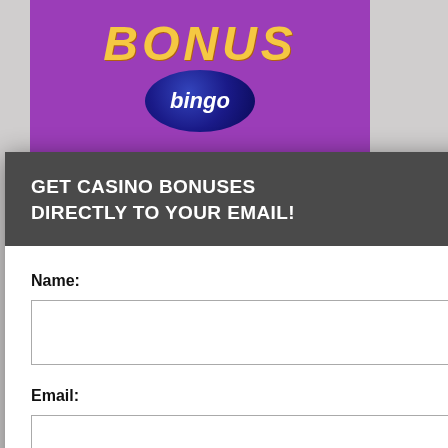[Figure (screenshot): Bonus Bingo purple banner with BONUS text in gold and 'bingo' in a dark blue circle]
[Figure (screenshot): Background page showing partial text: LUSIVE $50 FREE CHIP and partial body text about exclusive $50 free chip no deposit bonus, with cookie consent overlay in black]
[Figure (screenshot): Email subscription popup modal with dark grey header saying GET CASINO BONUSES DIRECTLY TO YOUR EMAIL!, Name and Email input fields, Submit button, and footer text about Privacy and Cookie policy. Close button (X) at top right.]